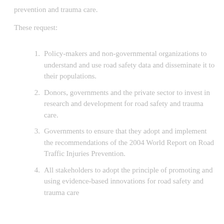prevention and trauma care.
These request:
Policy-makers and non-governmental organizations to understand and use road safety data and disseminate it to their populations.
Donors, governments and the private sector to invest in research and development for road safety and trauma care.
Governments to ensure that they adopt and implement the recommendations of the 2004 World Report on Road Traffic Injuries Prevention.
All stakeholders to adopt the principle of promoting and using evidence-based innovations for road safety and trauma care